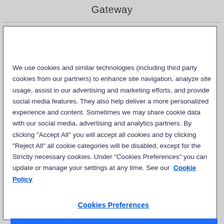Gateway
We use cookies and similar technologies (including third party cookies from our partners) to enhance site navigation, analyze site usage, assist in our advertising and marketing efforts, and provide social media features. They also help deliver a more personalized experience and content. Sometimes we may share cookie data with our social media, advertising and analytics partners. By clicking "Accept All" you will accept all cookies and by clicking "Reject All" all cookie categories will be disabled, except for the Strictly necessary cookies. Under "Cookies Preferences" you can update or manage your settings at any time. See our  Cookie Policy
Cookies Preferences
Reject All